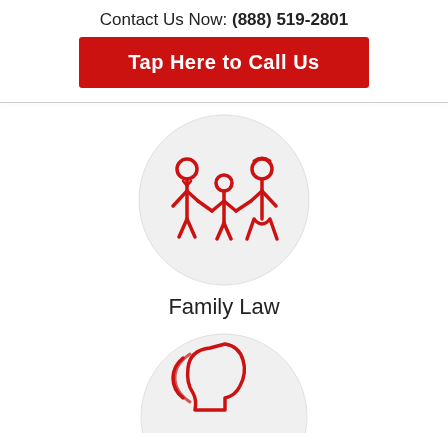Contact Us Now: (888) 519-2801
Tap Here to Call Us
[Figure (illustration): Red line-art icon of a family (man, child, woman holding hands) inside a light gray circle]
Family Law
[Figure (illustration): Red line-art icon of a person speaking (head in profile with speech/sound waves) inside a light gray circle, partially visible]